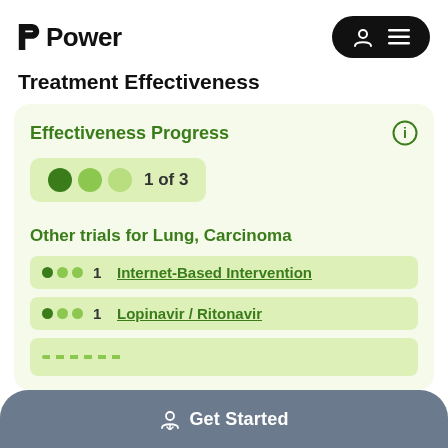[Figure (logo): Power app logo with stylized P icon and word Power]
[Figure (screenshot): Navigation pill with user icon and hamburger menu on black background]
Treatment Effectiveness
Effectiveness Progress
1 of 3
Other trials for Lung, Carcinoma
1  Internet-Based Intervention
1  Lopinavir / Ritonavir
Get Started